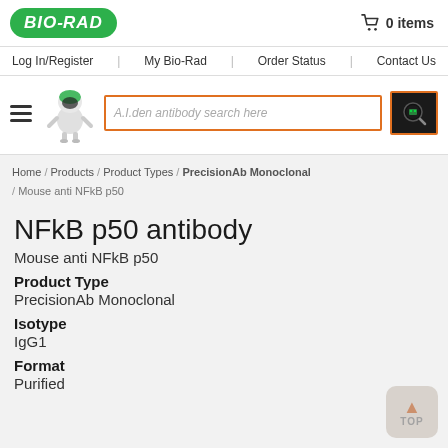[Figure (logo): Bio-Rad logo in green oval with white italic text]
0 items
Log In/Register | My Bio-Rad | Order Status | Contact Us
[Figure (illustration): Bio-Rad robot mascot and hamburger menu icon with search bar reading 'A.I.den antibody search here' and a search button with robot magnifying glass icon]
Home / Products / Product Types / PrecisionAb Monoclonal / Mouse anti NFkB p50
NFkB p50 antibody
Mouse anti NFkB p50
Product Type
PrecisionAb Monoclonal
Isotype
IgG1
Format
Purified